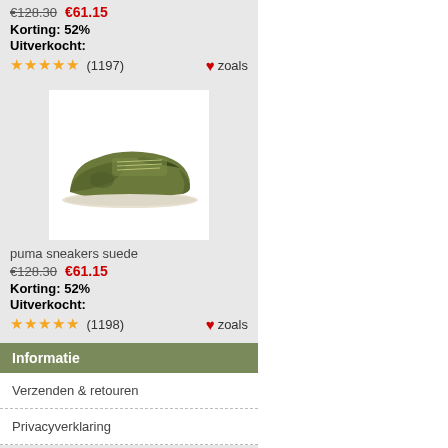€128.30  €61.15 Korting: 52% Uitverkocht: ★★★★★ (1197) zoals
[Figure (photo): Puma sneakers suede in olive/green color, side view on white background]
puma sneakers suede
€128.30  €61.15 Korting: 52% Uitverkocht: ★★★★★ (1198) zoals
Informatie
Verzenden & retouren
Privacyverklaring